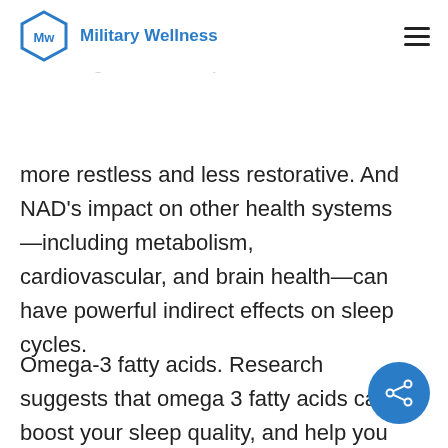Military Wellness
more restless and less restorative. And NAD’s impact on other health systems—including metabolism, cardiovascular, and brain health—can have powerful indirect effects on sleep cycles.
Omega-3 fatty acids. Research suggests that omega 3 fatty acids can boost your sleep quality, and help you fall asleep more quickly. Omega-3 fatty acids also appear to help the body produce